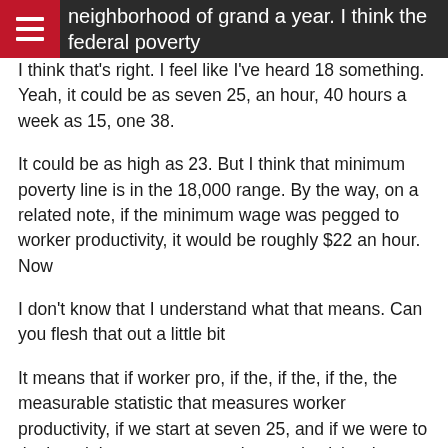don't remember it correctly. I want to say is in the neighborhood of grand a year. I think the federal poverty wage though salary, yearly income, wanna say as 18,
I think that's right. I feel like I've heard 18 something. Yeah, it could be as seven 25, an hour, 40 hours a week as 15, one 38.
It could be as high as 23. But I think that minimum poverty line is in the 18,000 range. By the way, on a related note, if the minimum wage was pegged to worker productivity, it would be roughly $22 an hour. Now
I don't know that I understand what that means. Can you flesh that out a little bit
It means that if worker pro, if the, if the, if the, the measurable statistic that measures worker productivity, if we start at seven 25, and if we were to tie the minimum wage to worker productivity, that means worker output is.